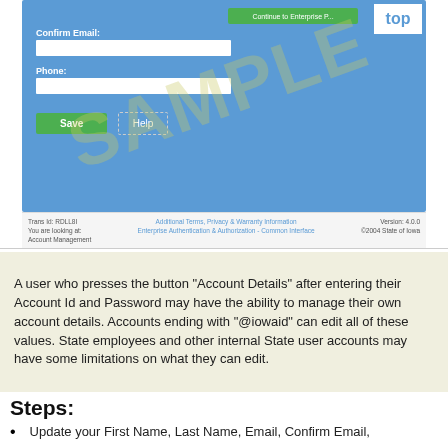[Figure (screenshot): Screenshot of an Iowa state government web form showing 'Confirm Email' and 'Phone' fields with text input boxes, a green 'Save' button, a 'Help' button, a 'top' link, a SAMPLE watermark, and a footer with Trans Id, version info, and links to Additional Terms, Privacy & Warranty Information and Enterprise Authentication & Authorization - Common Interface.]
A user who presses the button "Account Details" after entering their Account Id and Password may have the ability to manage their own account details. Accounts ending with "@iowaid" can edit all of these values. State employees and other internal State user accounts may have some limitations on what they can edit.
Steps:
Update your First Name, Last Name, Email, Confirm Email,